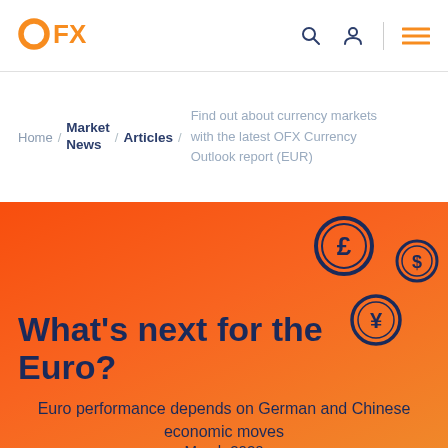[Figure (logo): OFX logo in orange with stylized O and FX text]
Home / Market News / Articles / Find out about currency markets with the latest OFX Currency Outlook report (EUR)
[Figure (illustration): Orange/red gradient hero background with currency symbols (£, $, ¥) in circular dark navy icons]
What's next for the Euro?
Euro performance depends on German and Chinese economic moves
March 2020